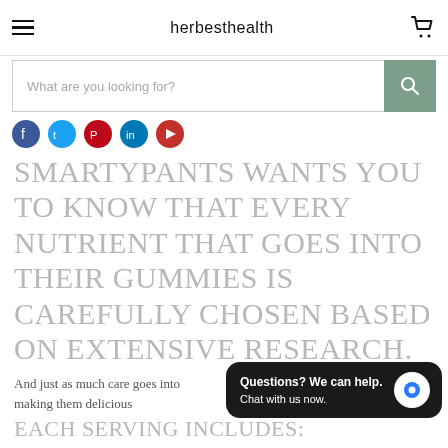herbesthealth
[Figure (screenshot): Search bar with placeholder text 'What are you looking for?' and a sage-green search button with magnifying glass icon]
[Figure (infographic): Row of five social media icon circles: Facebook (blue), Twitter (light blue), Pinterest (red), LinkedIn (dark blue), YouTube (red)]
SMARTYPANTS WANTS YOU TO KNOW THAT EVERY NUTRIENT THAT GOES INTO THEIR GUMMIES IS CAREFULLY CHOSEN BASED ON EXTENSIVE RESEARCH.
And just as much care goes into making them delicious
[Figure (screenshot): Chat widget popup: dark background with text 'Questions? We can help. Chat with us now.' and a blue chat bubble icon on the right]
EACH SERVING INCLUDES: